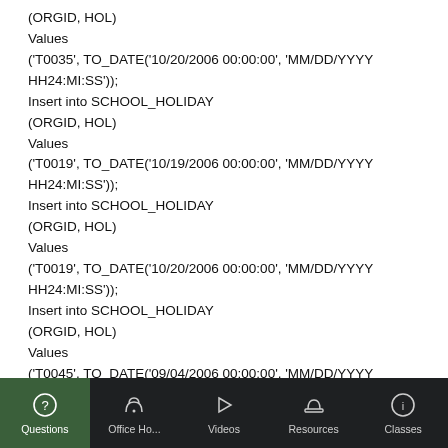(ORGID, HOL)
Values
('T0035', TO_DATE('10/20/2006 00:00:00', 'MM/DD/YYYY HH24:MI:SS'));
Insert into SCHOOL_HOLIDAY
(ORGID, HOL)
Values
('T0019', TO_DATE('10/19/2006 00:00:00', 'MM/DD/YYYY HH24:MI:SS'));
Insert into SCHOOL_HOLIDAY
(ORGID, HOL)
Values
('T0019', TO_DATE('10/20/2006 00:00:00', 'MM/DD/YYYY HH24:MI:SS'));
Insert into SCHOOL_HOLIDAY
(ORGID, HOL)
Values
('T0045', TO_DATE('09/04/2006 00:00:00', 'MM/DD/YYYY HH24:MI:SS'));
Insert into SCHOOL_HOLIDAY
(ORGID, HOL)
Values
('T0045', TO_DATE('10/06/2006 00:00:00', 'MM/DD/YYYY HH24:MI:SS'));
HH24:MI:SS'));
Questions  Office Ho...  Videos  Resources  Classes